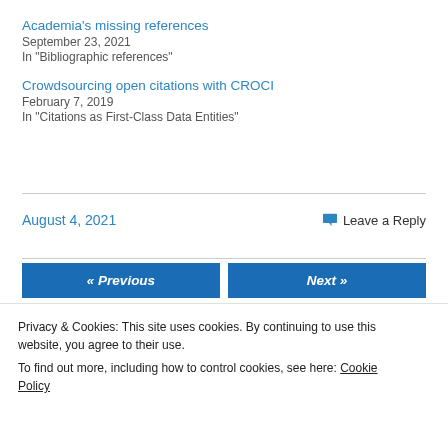Academia's missing references
September 23, 2021
In "Bibliographic references"
Crowdsourcing open citations with CROCI
February 7, 2019
In "Citations as First-Class Data Entities"
August 4, 2021
Leave a Reply
« Previous
Next »
Privacy & Cookies: This site uses cookies. By continuing to use this website, you agree to their use.
To find out more, including how to control cookies, see here: Cookie Policy
Close and accept